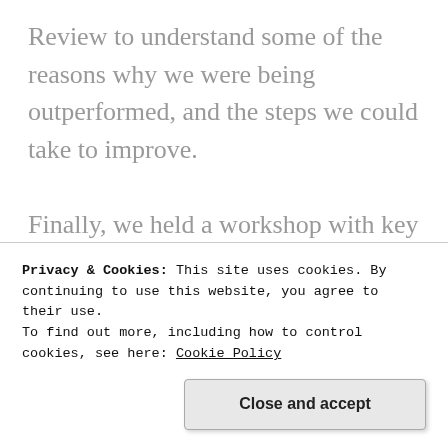Review to understand some of the reasons why we were being outperformed, and the steps we could take to improve.

Finally, we held a workshop with key members of Dunelm's marketing and trading teams to better understand their internal priorities, gain insight into the rugs category and buyer
Privacy & Cookies: This site uses cookies. By continuing to use this website, you agree to their use.
To find out more, including how to control cookies, see here: Cookie Policy
Close and accept